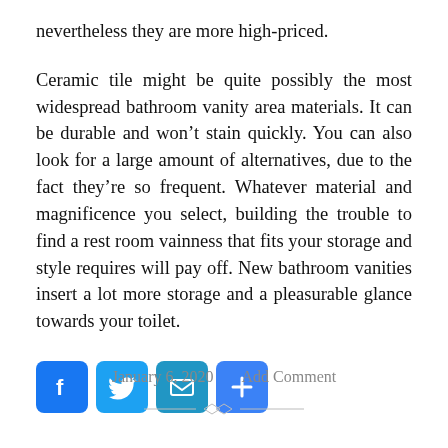nevertheless they are more high-priced.
Ceramic tile might be quite possibly the most widespread bathroom vanity area materials. It can be durable and won’t stain quickly. You can also look for a large amount of alternatives, due to the fact they’re so frequent. Whatever material and magnificence you select, building the trouble to find a rest room vainness that fits your storage and style requires will pay off. New bathroom vanities insert a lot more storage and a pleasurable glance towards your toilet.
[Figure (infographic): Social sharing icons: Facebook (blue), Twitter (light blue), Email (blue), Share/Plus (blue)]
January 6, 2020    Add Comment